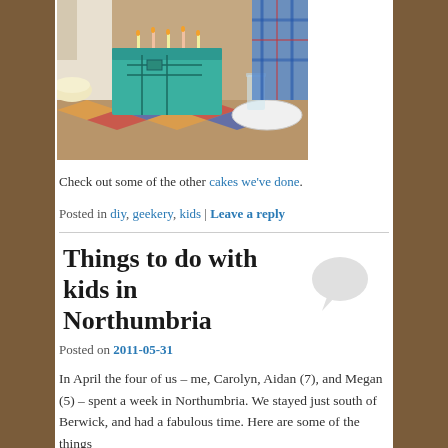[Figure (photo): A birthday cake decorated to look like a circuit board or electronic device, teal/green colored, on a table with plates and glasses. A person in plaid shirt visible in background.]
Check out some of the other cakes we've done.
Posted in diy, geekery, kids | Leave a reply
Things to do with kids in Northumbria
Posted on 2011-05-31
In April the four of us – me, Carolyn, Aidan (7), and Megan (5) – spent a week in Northumbria. We stayed just south of Berwick, and had a fabulous time. Here are some of the things